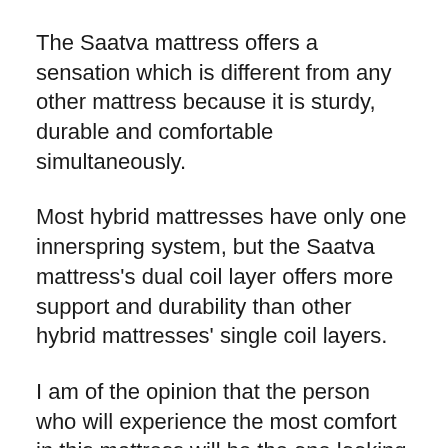The Saatva mattress offers a sensation which is different from any other mattress because it is sturdy, durable and comfortable simultaneously.
Most hybrid mattresses have only one innerspring system, but the Saatva mattress's dual coil layer offers more support and durability than other hybrid mattresses' single coil layers.
I am of the opinion that the person who will experience the most comfort in this mattress will be the one looking for a classic bouncy and responsive mattress sensation as well as comfortable foam.